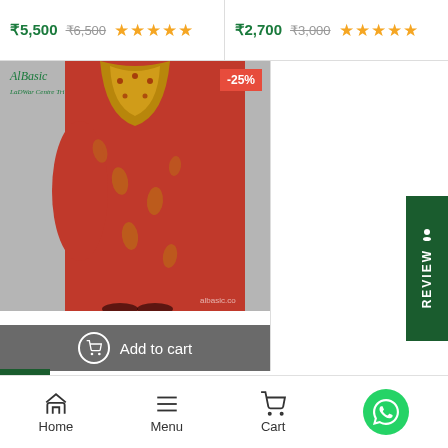₹5,500 ₹6,500 ★★★★★
₹2,700 ₹3,000 ★★★★★
[Figure (photo): Red embroidered Designer Cotton Nighty dress on a model, with AlBasic brand logo in top-left, -25% discount badge in top-right, and Add to cart overlay at bottom]
Designer Cotton Nighty
₹3,000 ₹4,000 ★★★★★
Home  Menu  Cart  WhatsApp